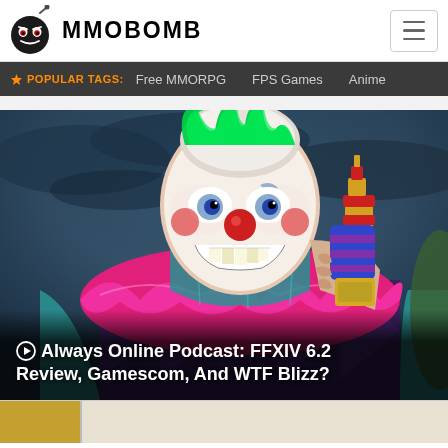[Figure (logo): MMOBomb logo with bomb icon and text MMOBOMB]
POPULAR TAGS:  Free MMORPG  FPS Games  Anime
[Figure (photo): A menacing clown character in colorful costume holding a cartoon weapon, game screenshot from Killer Klowns or similar title, dark blue stormy background]
Always Online Podcast: FFXIV 6.2 Review, Gamescom, And WTF Blizz?
[Figure (photo): Partial thumbnail image at bottom of page, yellow/gold tones]